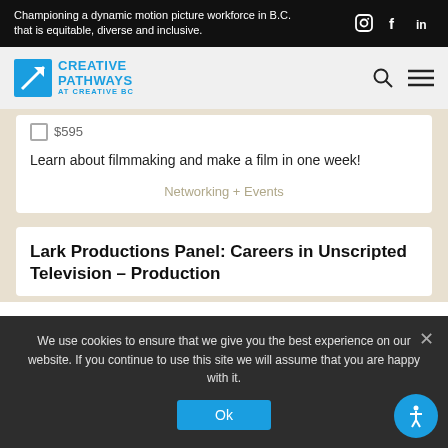Championing a dynamic motion picture workforce in B.C. that is equitable, diverse and inclusive.
[Figure (logo): Creative Pathways at Creative BC logo with blue arrow icon]
$595
Learn about filmmaking and make a film in one week!
Networking + Events
Lark Productions Panel: Careers in Unscripted Television – Production
We use cookies to ensure that we give you the best experience on our website. If you continue to use this site we will assume that you are happy with it.